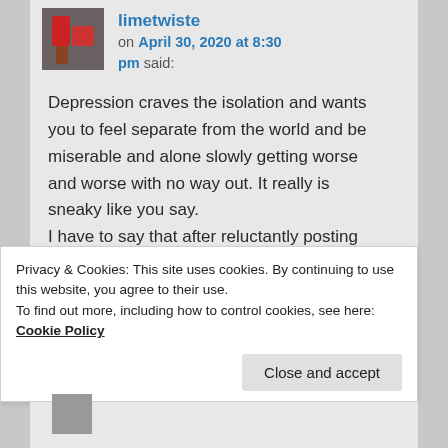limetwiste
on April 30, 2020 at 8:30 pm said:
Depression craves the isolation and wants you to feel separate from the world and be miserable and alone slowly getting worse and worse with no way out. It really is sneaky like you say.
I have to say that after reluctantly posting and receiving such wonderful support here it has helped enormously. Thank you.
Privacy & Cookies: This site uses cookies. By continuing to use this website, you agree to their use.
To find out more, including how to control cookies, see here: Cookie Policy
Close and accept